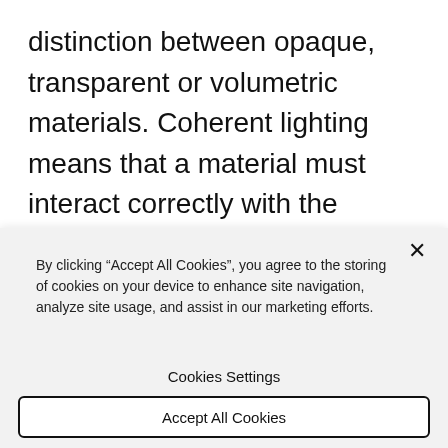distinction between opaque, transparent or volumetric materials. Coherent lighting means that a material must interact correctly with the lighting produced by any light sources (reflection probe, area lights...), even when modified by a Decal for example. This results in a more coherent look
By clicking “Accept All Cookies”, you agree to the storing of cookies on your device to enhance site navigation, analyze site usage, and assist in our marketing efforts.
Cookies Settings
Accept All Cookies